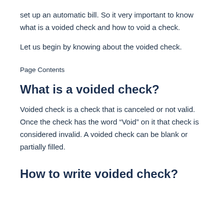set up an automatic bill. So it very important to know what is a voided check and how to void a check.
Let us begin by knowing about the voided check.
Page Contents
What is a voided check?
Voided check is a check that is canceled or not valid. Once the check has the word “Void” on it that check is considered invalid. A voided check can be blank or partially filled.
How to write voided check?